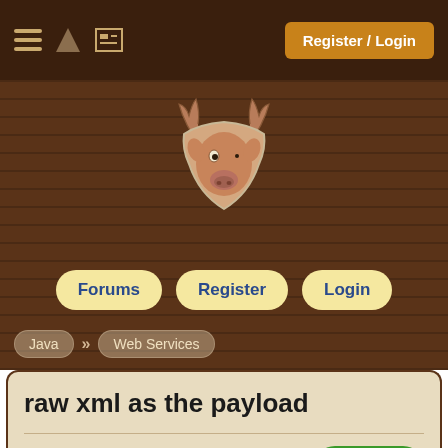Register / Login
[Figure (illustration): Cartoon moose head logo on wood background]
Forums   Register   Login
Java » Web Services
raw xml as the payload
graham king , Ranch Hand
Nov 01, 2007 12:13:00
+Pie